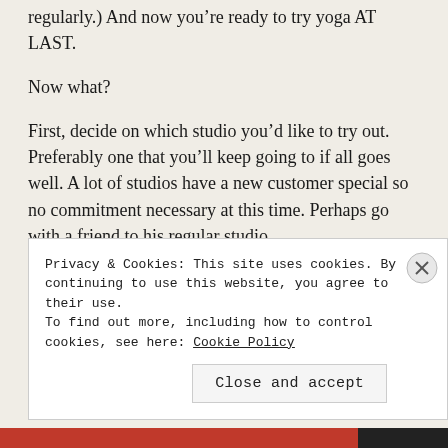regularly.) And now you're ready to try yoga AT LAST.
Now what?
First, decide on which studio you'd like to try out. Preferably one that you'll keep going to if all goes well. A lot of studios have a new customer special so no commitment necessary at this time. Perhaps go with a friend to his regular studio.
Second, decide which beginner's class to take. Talk to the people who run the studio. They can match
Privacy & Cookies: This site uses cookies. By continuing to use this website, you agree to their use.
To find out more, including how to control cookies, see here: Cookie Policy
Close and accept